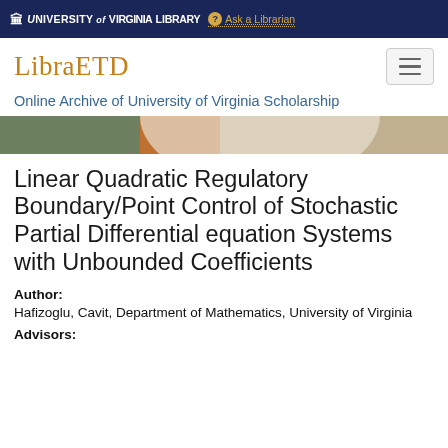University of Virginia Library  Ask a Librarian
[Figure (logo): LibraETD logo with hamburger menu button]
Online Archive of University of Virginia Scholarship
[Figure (photo): Hero image showing University of Virginia campus with autumn trees]
Linear Quadratic Regulatory Boundary/Point Control of Stochastic Partial Differential equation Systems with Unbounded Coefficients
Author: Hafizoglu, Cavit, Department of Mathematics, University of Virginia
Advisors: